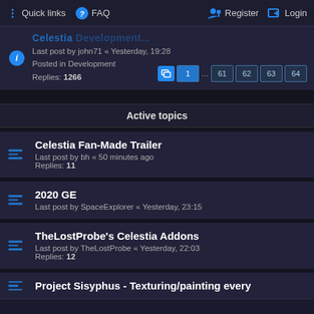Quick links  FAQ  Register  Login
Celestia → Development
Last post by john71 « Yesterday, 19:28
Posted in Development
Replies: 1266
Pages: 1 … 61 62 63 64
Active topics
Celestia Fan-Made Trailer
Last post by bh « 50 minutes ago
Replies: 11
2020 GE
Last post by SpaceExplorer « Yesterday, 23:15
TheLostProbe's Celestia Addons
Last post by TheLostProbe « Yesterday, 22:03
Replies: 12
Project Sisyphus - Texturing/painting every